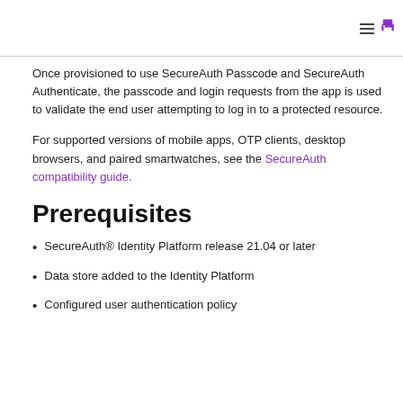Once provisioned to use SecureAuth Passcode and SecureAuth Authenticate, the passcode and login requests from the app is used to validate the end user attempting to log in to a protected resource.
For supported versions of mobile apps, OTP clients, desktop browsers, and paired smartwatches, see the SecureAuth compatibility guide.
Prerequisites
SecureAuth® Identity Platform release 21.04 or later
Data store added to the Identity Platform
Configured user authentication policy